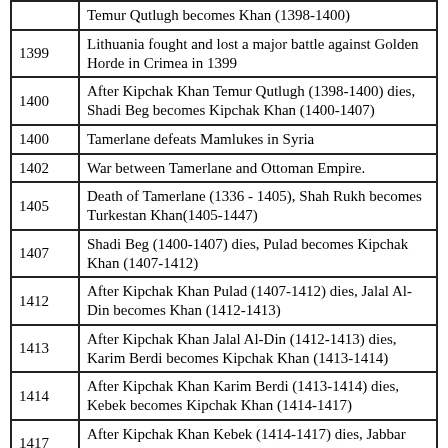| Year | Event |
| --- | --- |
|  | Temur Qutlugh becomes Khan (1398-1400) |
| 1399 | Lithuania fought and lost a major battle against Golden Horde in Crimea in 1399 |
| 1400 | After Kipchak Khan Temur Qutlugh (1398-1400) dies, Shadi Beg becomes Kipchak Khan (1400-1407) |
| 1400 | Tamerlane defeats Mamlukes in Syria |
| 1402 | War between Tamerlane and Ottoman Empire. |
| 1405 | Death of Tamerlane (1336 - 1405), Shah Rukh becomes Turkestan Khan(1405-1447) |
| 1407 | Shadi Beg (1400-1407) dies, Pulad becomes Kipchak Khan (1407-1412) |
| 1412 | After Kipchak Khan Pulad (1407-1412) dies, Jalal Al-Din becomes Khan (1412-1413) |
| 1413 | After Kipchak Khan Jalal Al-Din (1412-1413) dies, Karim Berdi becomes Kipchak Khan (1413-1414) |
| 1414 | After Kipchak Khan Karim Berdi (1413-1414) dies, Kebek becomes Kipchak Khan (1414-1417) |
| 1417 | After Kipchak Khan Kebek (1414-1417) dies, Jabbar Berdi becomes Kipchak Khan (1417-1419) |
| 1419 | After Kipchak Khan Jabbar Berdi dies, Ulugh Mehmed becomes Kipchak Khan (1419-1420 d 1434) |
| 1419 | Death of Edigu. Beginning of civil war in Kipchak Kaganate. |